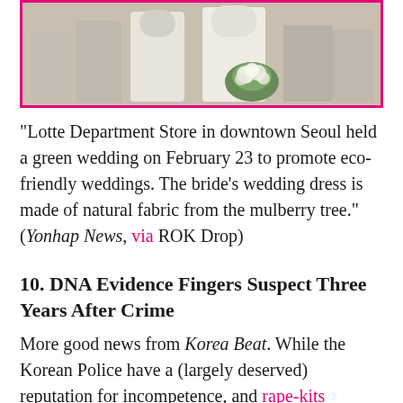[Figure (photo): Wedding photo showing bride and groom, bride holding green/white floral bouquet, both in formal attire, framed with pink border]
“Lotte Department Store in downtown Seoul held a green wedding on February 23 to promote eco-friendly weddings. The bride’s wedding dress is made of natural fabric from the mulberry tree.” (Yonhap News, via ROK Drop)
10. DNA Evidence Fingers Suspect Three Years After Crime
More good news from Korea Beat. While the Korean Police have a (largely deserved) reputation for incompetence, and rape-kits aren’t even available to most Korean